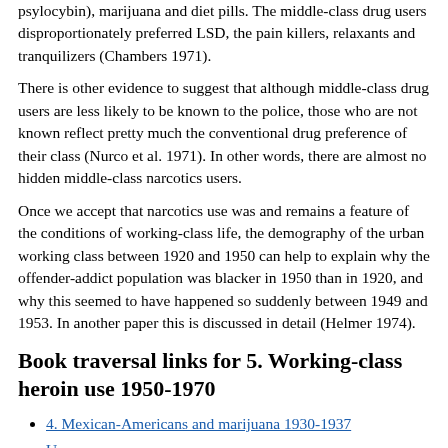psylocybin), marijuana and diet pills. The middle-class drug users disproportionately preferred LSD, the pain killers, relaxants and tranquilizers (Chambers 1971).
There is other evidence to suggest that although middle-class drug users are less likely to be known to the police, those who are not known reflect pretty much the conventional drug preference of their class (Nurco et al. 1971). In other words, there are almost no hidden middle-class narcotics users.
Once we accept that narcotics use was and remains a feature of the conditions of working-class life, the demography of the urban working class between 1920 and 1950 can help to explain why the offender-addict population was blacker in 1950 than in 1920, and why this seemed to have happened so suddenly between 1949 and 1953. In another paper this is discussed in detail (Helmer 1974).
Book traversal links for 5. Working-class heroin use 1950-1970
4. Mexican-Americans and marijuana 1930-1937
Up
Conclusion